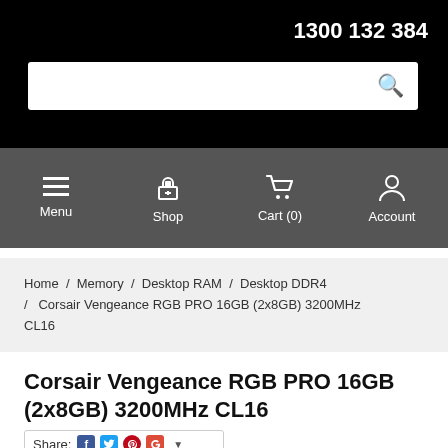1300 132 384
Menu  Shop  Cart (0)  Account
Home / Memory / Desktop RAM / Desktop DDR4 / Corsair Vengeance RGB PRO 16GB (2x8GB) 3200MHz CL16
Corsair Vengeance RGB PRO 16GB (2x8GB) 3200MHz CL16
Share: